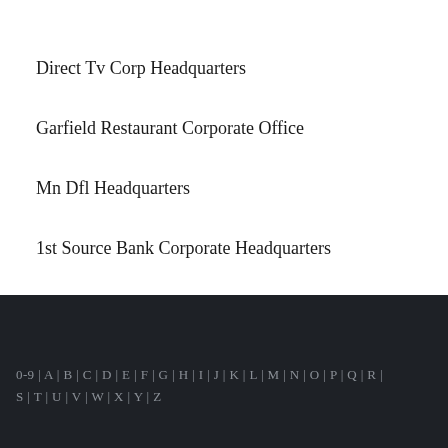Direct Tv Corp Headquarters
Garfield Restaurant Corporate Office
Mn Dfl Headquarters
1st Source Bank Corporate Headquarters
0-9 | A | B | C | D | E | F | G | H | I | J | K | L | M | N | O | P | Q | R | S | T | U | V | W | X | Y | Z